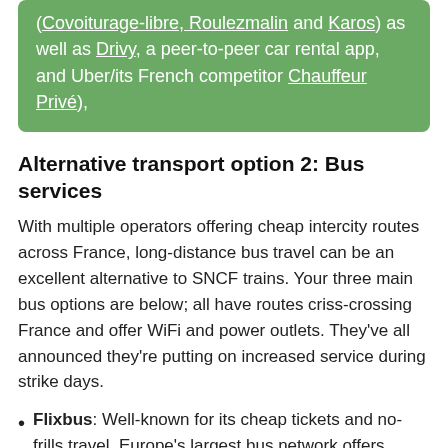(Covoiturage-libre, Roulezmalin and Karos) as well as Drivy, a peer-to-peer car rental app, and Uber/its French competitor Chauffeur Privé),
Alternative transport option 2: Bus services
With multiple operators offering cheap intercity routes across France, long-distance bus travel can be an excellent alternative to SNCF trains. Your three main bus options are below; all have routes criss-crossing France and offer WiFi and power outlets. They've all announced they're putting on increased service during strike days.
Flixbus: Well-known for its cheap tickets and no-frills travel, Europe's largest bus network offers routes across France and Europe (see here for all routes). Want to know more about Flixbus? Check out our